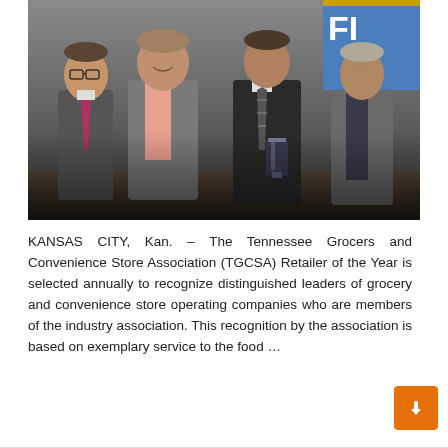[Figure (photo): Four men standing together posing for a photo. The man third from left holds a glass award trophy. A banner with letters visible in background.]
KANSAS CITY, Kan. – The Tennessee Grocers and Convenience Store Association (TGCSA) Retailer of the Year is selected annually to recognize distinguished leaders of grocery and convenience store operating companies who are members of the industry association. This recognition by the association is based on exemplary service to the food …